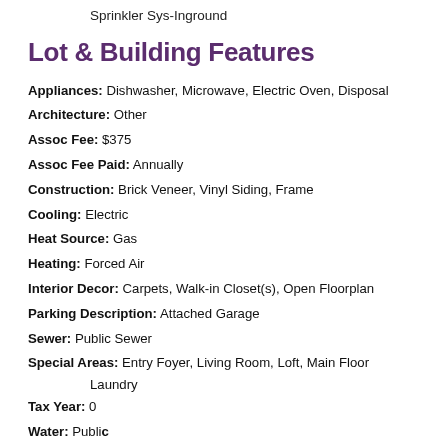Sprinkler Sys-Inground
Lot & Building Features
Appliances: Dishwasher, Microwave, Electric Oven, Disposal
Architecture: Other
Assoc Fee: $375
Assoc Fee Paid: Annually
Construction: Brick Veneer, Vinyl Siding, Frame
Cooling: Electric
Heat Source: Gas
Heating: Forced Air
Interior Decor: Carpets, Walk-in Closet(s), Open Floorplan
Parking Description: Attached Garage
Sewer: Public Sewer
Special Areas: Entry Foyer, Living Room, Loft, Main Floor Laundry
Tax Year: 0
Water: Public